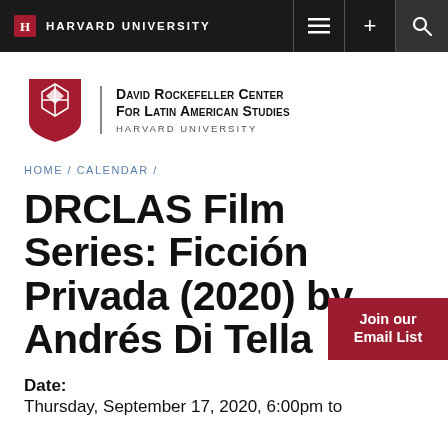HARVARD UNIVERSITY
[Figure (logo): David Rockefeller Center for Latin American Studies, Harvard University logo with crimson shield]
HOME / CALENDAR /
DRCLAS Film Series: Ficción Privada (2020) by Andrés Di Tella
Join our Email List
Date:
Thursday, September 17, 2020, 6:00pm to